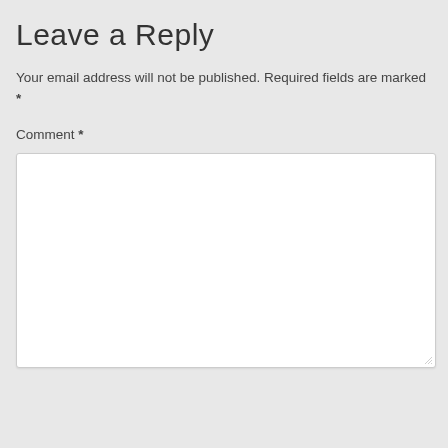Leave a Reply
Your email address will not be published. Required fields are marked *
Comment *
[Figure (other): Empty comment text area input box with resize handle in bottom-right corner]